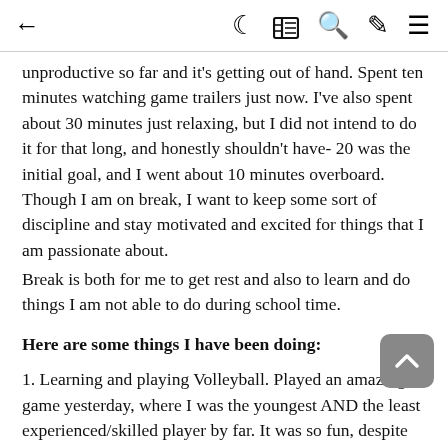← (back arrow) | (crescent moon icon) (grid icon) (search icon) (brush icon) (menu icon)
unproductive so far and it's getting out of hand. Spent ten minutes watching game trailers just now. I've also spent about 30 minutes just relaxing, but I did not intend to do it for that long, and honestly shouldn't have- 20 was the initial goal, and I went about 10 minutes overboard. Though I am on break, I want to keep some sort of discipline and stay motivated and excited for things that I am passionate about.
Break is both for me to get rest and also to learn and do things I am not able to do during school time.
Here are some things I have been doing:
1. Learning and playing Volleyball. Played an amazing game yesterday, where I was the youngest AND the least experienced/skilled player by far. It was so fun, despite the fact that I barely contributed to my team- I've scored 1 point myself and have lost at least 10. But, I learned so much!
2. Bettering my practice habits with trombone. This one needs more improvement- I am not doing super well lately, and have been not feeling super motivated during my practice routines. I